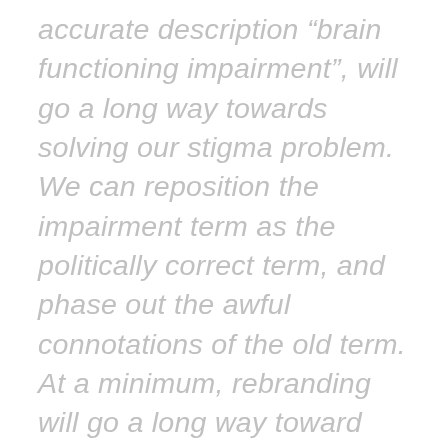accurate description “brain functioning impairment”, will go a long way towards solving our stigma problem. We can reposition the impairment term as the politically correct term, and phase out the awful connotations of the old term. At a minimum, rebranding will go a long way toward forcing the general public to change its perception of people with BFI.